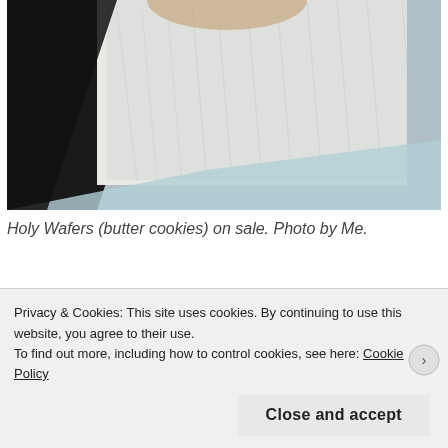[Figure (photo): Close-up photograph of white wafer/cookie fabric texture with dark shadow on left side and light blue background at bottom right]
Holy Wafers (butter cookies) on sale. Photo by Me.
Privacy & Cookies: This site uses cookies. By continuing to use this website, you agree to their use. To find out more, including how to control cookies, see here: Cookie Policy
Close and accept